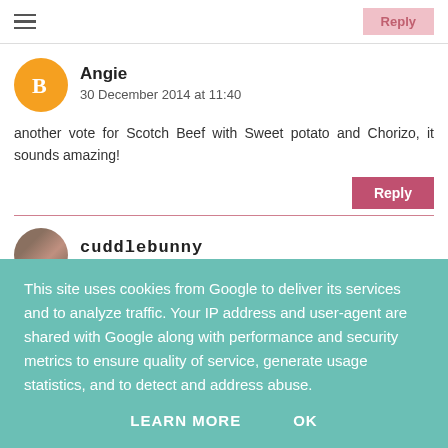≡  Reply
Angie
30 December 2014 at 11:40
another vote for Scotch Beef with Sweet potato and Chorizo, it sounds amazing!
Reply
cuddlebunny
This site uses cookies from Google to deliver its services and to analyze traffic. Your IP address and user-agent are shared with Google along with performance and security metrics to ensure quality of service, generate usage statistics, and to detect and address abuse.
LEARN MORE    OK